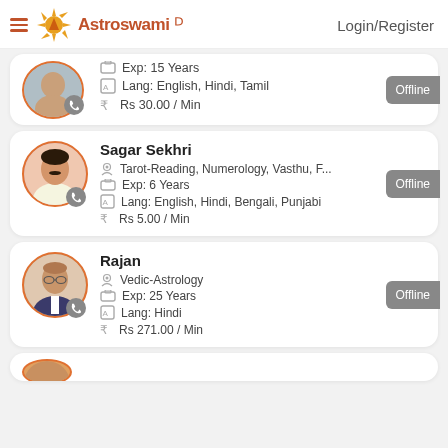Astroswami | Login/Register
Exp: 15 Years | Lang: English, Hindi, Tamil | Rs 30.00 / Min | Offline
Sagar Sekhri
Tarot-Reading, Numerology, Vasthu, F... | Exp: 6 Years | Lang: English, Hindi, Bengali, Punjabi | Rs 5.00 / Min | Offline
Rajan
Vedic-Astrology | Exp: 25 Years | Lang: Hindi | Rs 271.00 / Min | Offline